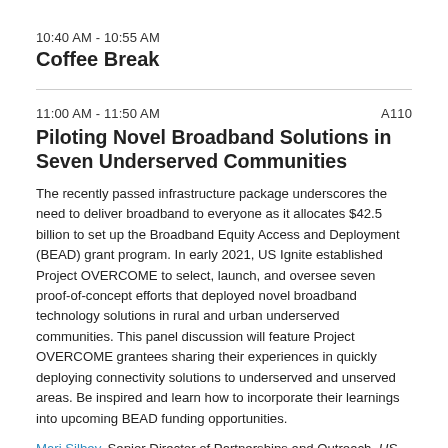10:40 AM - 10:55 AM
Coffee Break
11:00 AM - 11:50 AM                                    A110
Piloting Novel Broadband Solutions in Seven Underserved Communities
The recently passed infrastructure package underscores the need to deliver broadband to everyone as it allocates $42.5 billion to set up the Broadband Equity Access and Deployment (BEAD) grant program. In early 2021, US Ignite established Project OVERCOME to select, launch, and oversee seven proof-of-concept efforts that deployed novel broadband technology solutions in rural and urban underserved communities. This panel discussion will feature Project OVERCOME grantees sharing their experiences in quickly deploying connectivity solutions to underserved and unserved areas. Be inspired and learn how to incorporate their learnings into upcoming BEAD funding opportunities.
Mari Silbey, Senior Director of Partnerships and Outreach, US